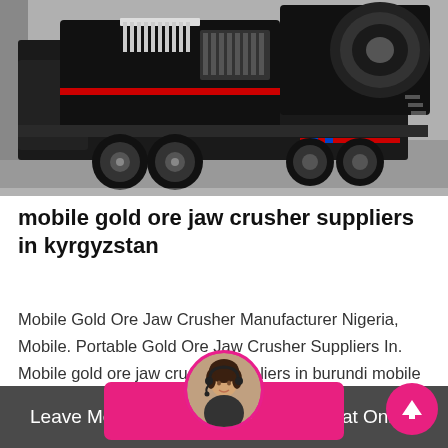[Figure (photo): A large black and white mobile jaw crusher machine mounted on a truck trailer, parked on a concrete surface near a building. The crusher has ventilation slats and red accent stripes.]
mobile gold ore jaw crusher suppliers in kyrgyzstan
Mobile Gold Ore Jaw Crusher Manufacturer Nigeria, Mobile. Portable Gold Ore Jaw Crusher Suppliers In. Mobile gold ore jaw crusher suppliers in burundi mobile crusher assembled stone crusher for price in togo flat belt conveyor crushing stones india…
[Figure (illustration): Pink/magenta contact button overlay with partial text visible, overlaid by a circular avatar photo of a woman wearing a headset (customer support representative). Scroll-to-top pink circle button with upward arrow on the right.]
Leave Message   Chat Online